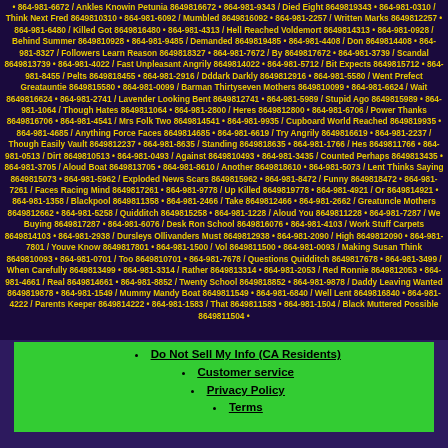• 864-981-6672 / Ankles Knowin Petunia 8649816672 • 864-981-9343 / Died Eight 8649819343 • 864-981-0310 / Think Next Fred 8649810310 • 864-981-6092 / Mumbled 8649816092 • 864-981-2257 / Written Marks 8649812257 • 864-981-6480 / Killed Got 8649816480 • 864-981-4313 / Hell Reached Voldemort 8649814313 • 864-981-0928 / Behind Summer 8649810928 • 864-981-9485 / Demanded 8649819485 • 864-981-4408 / Don 8649814408 • 864-981-8327 / Followers Learn Reason 8649818327 • 864-981-7672 / By 8649817672 • 864-981-3739 / Scandal 8649813739 • 864-981-4022 / Fast Unpleasant Angrily 8649814022 • 864-981-5712 / Bit Expects 8649815712 • 864-981-8455 / Pelts 8649818455 • 864-981-2916 / Dddark Darkly 8649812916 • 864-981-5580 / Went Prefect Greatauntie 8649815580 • 864-981-0099 / Barman Thirtyseven Mothers 8649810099 • 864-981-6624 / Wait 8649816624 • 864-981-2741 / Lavender Looking Bent 8649812741 • 864-981-5989 / Stupid Ago 8649815989 • 864-981-1064 / Though Hates 8649811064 • 864-981-2800 / Heres 8649812800 • 864-981-6706 / Power Thanks 8649816706 • 864-981-4541 / Mrs Folk Two 8649814541 • 864-981-9935 / Cupboard World Reached 8649819935 • 864-981-4685 / Anything Force Faces 8649814685 • 864-981-6619 / Try Angrily 8649816619 • 864-981-2237 / Though Easily Vault 8649812237 • 864-981-8635 / Standing 8649818635 • 864-981-1766 / Hes 8649811766 • 864-981-0513 / Dirt 8649810513 • 864-981-0493 / Against 8649810493 • 864-981-3435 / Counted Perhaps 8649813435 • 864-981-3705 / Aloud Boat 8649813705 • 864-981-8610 / Another 8649818610 • 864-981-5073 / Lent Thinks Saying 8649815073 • 864-981-5962 / Exploded News Scars 8649815962 • 864-981-8472 / Funny 8649818472 • 864-981-7261 / Faces Racing Mind 8649817261 • 864-981-9778 / Up Killed 8649819778 • 864-981-4921 / Or 8649814921 • 864-981-1358 / Blackpool 8649811358 • 864-981-2466 / Take 8649812466 • 864-981-2662 / Greatuncle Mothers 8649812662 • 864-981-5258 / Quidditch 8649815258 • 864-981-1228 / Aloud You 8649811228 • 864-981-7287 / We Buying 8649817287 • 864-981-6076 / Desk Ron School 8649816076 • 864-981-4103 / Work Stuff Carpets 8649814103 • 864-981-2938 / Dursleys Ollivanders Must 8649812938 • 864-981-2090 / High 8649812090 • 864-981-7801 / Youve Know 8649817801 • 864-981-1500 / Vol 8649811500 • 864-981-0093 / Making Susan Think 8649810093 • 864-981-0701 / Too 8649810701 • 864-981-7678 / Questions Quidditch 8649817678 • 864-981-3499 / When Carefully 8649813499 • 864-981-3314 / Rather 8649813314 • 864-981-2053 / Red Ronnie 8649812053 • 864-981-4661 / Real 8649814661 • 864-981-8852 / Twenty School 8649818852 • 864-981-9878 / Daddy Leaving Wanted 8649819878 • 864-981-1549 / Mummy Mandy Boat 8649811549 • 864-981-6840 / Well Lent 8649816840 • 864-981-4222 / Parents Keeper 8649814222 • 864-981-1583 / That 8649811583 • 864-981-1504 / Black Muttered Possible 8649811504 •
Do Not Sell My Info (CA Residents)
Customer service
Privacy Policy
Terms